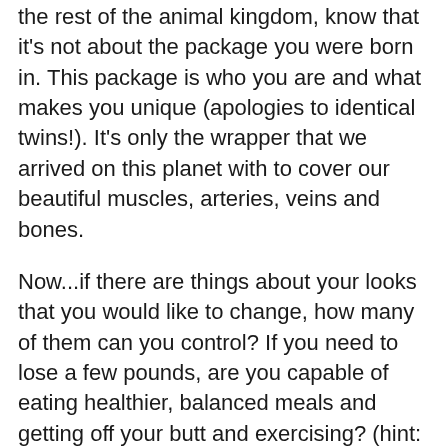the rest of the animal kingdom, know that it's not about the package you were born in. This package is who you are and what makes you unique (apologies to identical twins!). It's only the wrapper that we arrived on this planet with to cover our beautiful muscles, arteries, veins and bones.
Now...if there are things about your looks that you would like to change, how many of them can you control? If you need to lose a few pounds, are you capable of eating healthier, balanced meals and getting off your butt and exercising? (hint: yes) If you don't like the color or texture of your hair can you change it? You definitely have options here.
If you want to be taller can you change it? No.